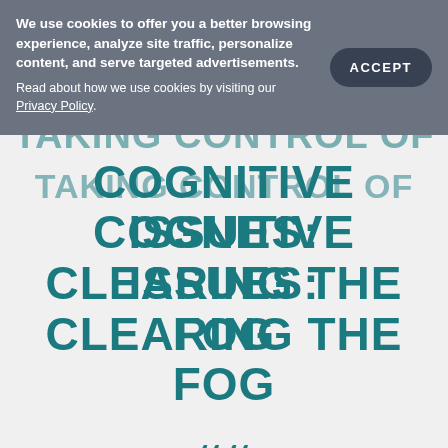We use cookies to offer you a better browsing experience, analyze site traffic, personalize content, and serve targeted advertisements.
Read about how we use cookies by visiting our Privacy Policy.
TAKING CONTROL OF COGNITIVE ISSUES: CLEARING THE FOG
““ Taking control of cognitive issues: clearing the fog ””